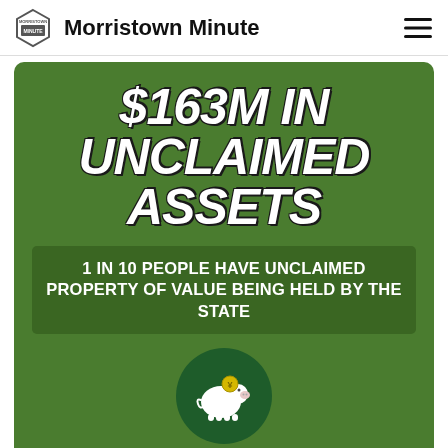Morristown Minute
[Figure (infographic): Green infographic reading '$163M IN UNCLAIMED ASSETS' with subtext '1 IN 10 PEOPLE HAVE UNCLAIMED PROPERTY OF VALUE BEING HELD BY THE STATE' and a piggy bank icon in a dark green circle]
1 in every 10 people have unclaimed property
Write a comment...